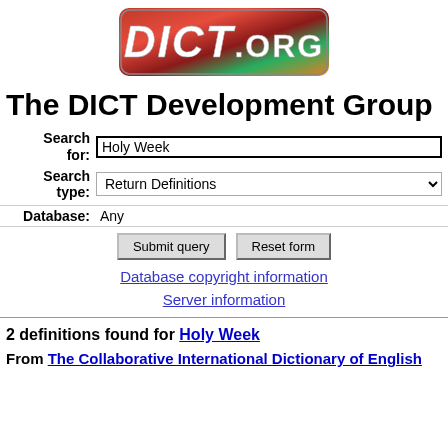[Figure (logo): DICT.org logo with colorful red/green/orange background and white text reading DICT.ORG]
The DICT Development Group
Search for: Holy Week | Search type: Return Definitions | Database: Any | Submit query | Reset form
Database copyright information
Server information
2 definitions found for Holy Week
From The Collaborative International Dictionary of English